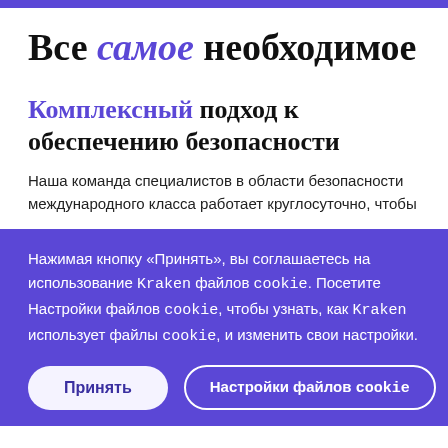Все самое необходимое
Комплексный подход к обеспечению безопасности
Наша команда специалистов в области безопасности международного класса работает круглосуточно, чтобы
Нажимая кнопку «Принять», вы соглашаетесь на использование Kraken файлов cookie. Посетите Настройки файлов cookie, чтобы узнать, как Kraken использует файлы cookie, и изменить свои настройки.
Принять
Настройки файлов cookie